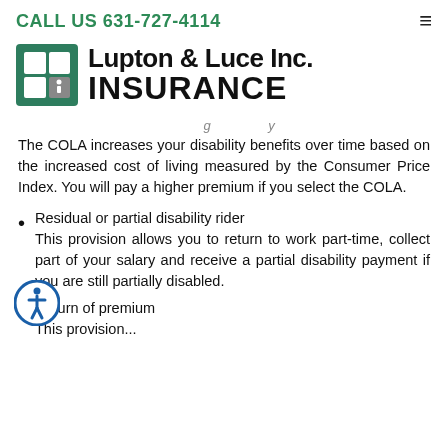CALL US 631-727-4114
[Figure (logo): Lupton & Luce Inc. Insurance logo with green square icon containing a stylized figure]
The COLA increases your disability benefits over time based on the increased cost of living measured by the Consumer Price Index. You will pay a higher premium if you select the COLA.
Residual or partial disability rider
This provision allows you to return to work part-time, collect part of your salary and receive a partial disability payment if you are still partially disabled.
Return of premium
This provision...